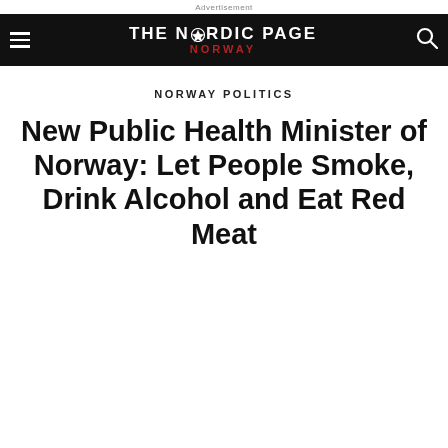Advertisement
[Figure (logo): The Nordic Page Norway logo — white bold text on black navigation bar with hamburger menu and search icon]
NORWAY POLITICS
New Public Health Minister of Norway: Let People Smoke, Drink Alcohol and Eat Red Meat